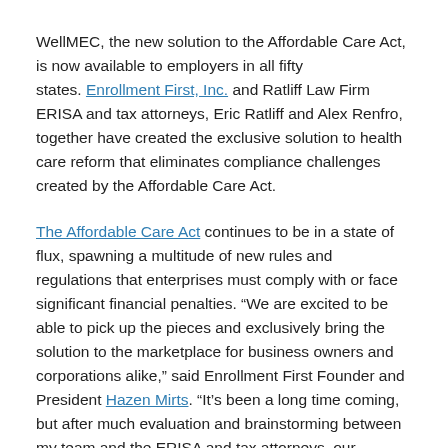WellMEC, the new solution to the Affordable Care Act, is now available to employers in all fifty states. Enrollment First, Inc. and Ratliff Law Firm ERISA and tax attorneys, Eric Ratliff and Alex Renfro, together have created the exclusive solution to health care reform that eliminates compliance challenges created by the Affordable Care Act.
The Affordable Care Act continues to be in a state of flux, spawning a multitude of new rules and regulations that enterprises must comply with or face significant financial penalties. “We are excited to be able to pick up the pieces and exclusively bring the solution to the marketplace for business owners and corporations alike,” said Enrollment First Founder and President Hazen Mirts. “It’s been a long time coming, but after much evaluation and brainstorming between my team and the ERISA and tax attorneys, our solution is ready now and it eliminates the challenges of complying with the ACA now, in 2014, and beyond.”